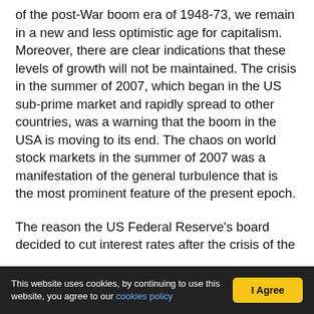of the post-War boom era of 1948-73, we remain in a new and less optimistic age for capitalism. Moreover, there are clear indications that these levels of growth will not be maintained. The crisis in the summer of 2007, which began in the US sub-prime market and rapidly spread to other countries, was a warning that the boom in the USA is moving to its end. The chaos on world stock markets in the summer of 2007 was a manifestation of the general turbulence that is the most prominent feature of the present epoch.
The reason the US Federal Reserve's board decided to cut interest rates after the crisis of the summer of 2007...
This website uses cookies, by continuing to use this website, you agree to our cookies policy